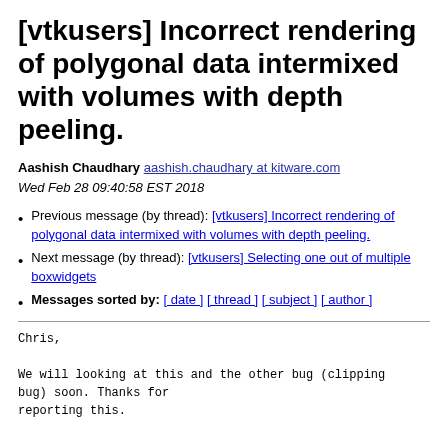[vtkusers] Incorrect rendering of polygonal data intermixed with volumes with depth peeling.
Aashish Chaudhary aashish.chaudhary at kitware.com
Wed Feb 28 09:40:58 EST 2018
Previous message (by thread): [vtkusers] Incorrect rendering of polygonal data intermixed with volumes with depth peeling.
Next message (by thread): [vtkusers] Selecting one out of multiple boxwidgets
Messages sorted by: [ date ] [ thread ] [ subject ] [ author ]
Chris,

We will looking at this and the other bug (clipping
bug) soon. Thanks for
reporting this.